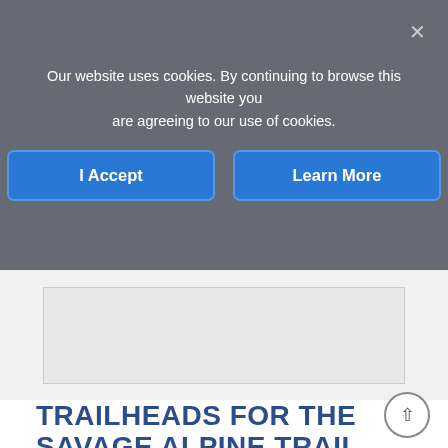Our website uses cookies. By continuing to browse this website you are agreeing to our use of cookies.
[Figure (screenshot): Cookie consent banner with two buttons: 'I Accept' and 'Learn More', and a close X button, on a dark grey semi-transparent overlay]
[Figure (other): Advertisement placeholder area — light grey rectangle]
TRAILHEADS FOR THE SAVAGE ALPINE TRAIL
Since this is a point-to-point hike, there are two trailheads.